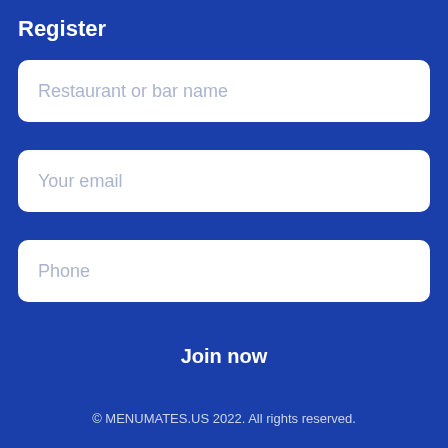Register
Restaurant or bar name
Your email
Phone
Join now
© MENUMATES.US 2022. All rights reserved.